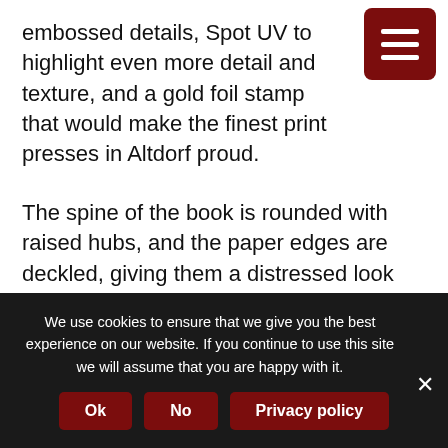embossed details, Spot UV to highlight even more detail and texture, and a gold foil stamp that would make the finest print presses in Altdorf proud.
The spine of the book is rounded with raised hubs, and the paper edges are deckled, giving them a distressed look reminiscent of the sort of dusty tomes one might hide in the attic from prowling witch hunters.
The Imperial Zoo is a bestiary and travelogue of three daring expeditions into the Old World, ranging from the heights of Karak Kadrin to the city of Miragliano in the
We use cookies to ensure that we give you the best experience on our website. If you continue to use this site we will assume that you are happy with it.